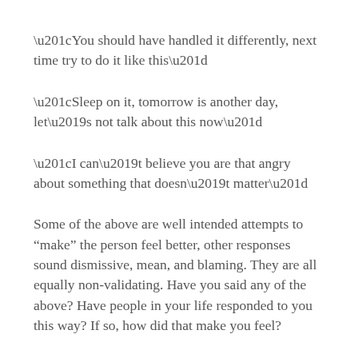“You should have handled it differently, next time try to do it like this”
“Sleep on it, tomorrow is another day, let’s not talk about this now”
“I can’t believe you are that angry about something that doesn’t matter”
Some of the above are well intended attempts to “make” the person feel better, other responses sound dismissive, mean, and blaming. They are all equally non-validating. Have you said any of the above? Have people in your life responded to you this way? If so, how did that make you feel?